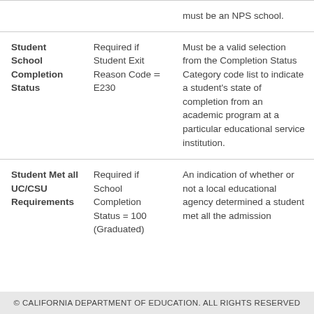| Field | Requirement | Description |
| --- | --- | --- |
|  |  | must be an NPS school. |
| Student School Completion Status | Required if Student Exit Reason Code = E230 | Must be a valid selection from the Completion Status Category code list to indicate a student's state of completion from an academic program at a particular educational service institution. |
| Student Met all UC/CSU Requirements | Required if School Completion Status = 100 (Graduated) | An indication of whether or not a local educational agency determined a student met all the admission |
© CALIFORNIA DEPARTMENT OF EDUCATION. ALL RIGHTS RESERVED